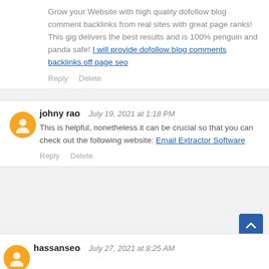Grow your Website with high quality dofollow blog comment backlinks from real sites with great page ranks! This gig delivers the best results and is 100% penguin and panda safe! I will provide dofollow blog comments backlinks off page seo
Reply   Delete
johny rao   July 19, 2021 at 1:18 PM
This is helpful, nonetheless it can be crucial so that you can check out the following website: Email Extractor Software
Reply   Delete
hassanseo   July 27, 2021 at 8:25 AM